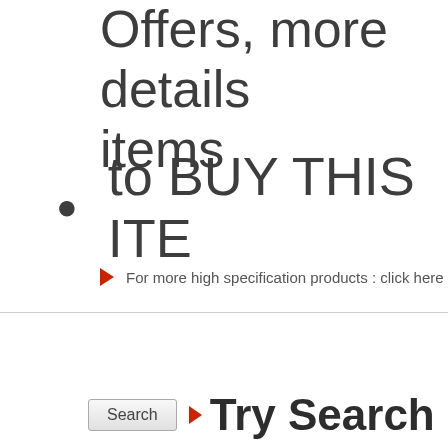Offers, more details items
to BUY THIS ITE
For more high specification products : click here
Search  ► Try Search o